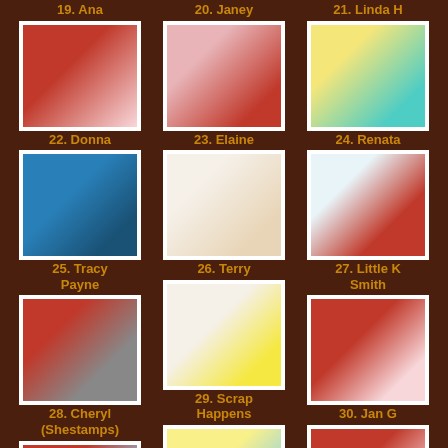19. Ana
20. Janey
21. Linda H
[Figure (photo): Handmade greeting card with red and pink design, girl figure with Love text]
[Figure (photo): Handmade greeting card with pink and red floral design]
[Figure (photo): Handmade greeting card with yellow flowers and teal background]
22. Donna
23. Elaine
24. Renata
[Figure (photo): Handmade card with blue background and girl figure]
[Figure (photo): Handmade card with cream background and whimsical character with umbrella]
[Figure (photo): Handmade card with red and blue design, heart motif]
25. Tracy Payne
26. Terry
27. Little K Smith
[Figure (photo): Handmade card with red background and turtle/snail design]
[Figure (photo): Handmade card with yellow sun chick on striped background]
[Figure (photo): Handmade card with red XOXO design]
28. Cheryl (Shestamps)
29. Scrap Happens
30. Jan G
[Figure (photo): Handmade card with red and white bunting/banner design]
[Figure (photo): Handmade card with blue envelope and bear design]
[Figure (photo): Handmade card with teal background and girl figure]
31. Jan G
32. Joyce
33. Moshie